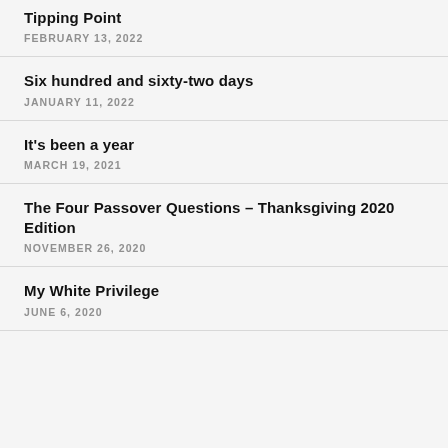Tipping Point
FEBRUARY 13, 2022
Six hundred and sixty-two days
JANUARY 11, 2022
It's been a year
MARCH 19, 2021
The Four Passover Questions – Thanksgiving 2020 Edition
NOVEMBER 26, 2020
My White Privilege
JUNE 6, 2020